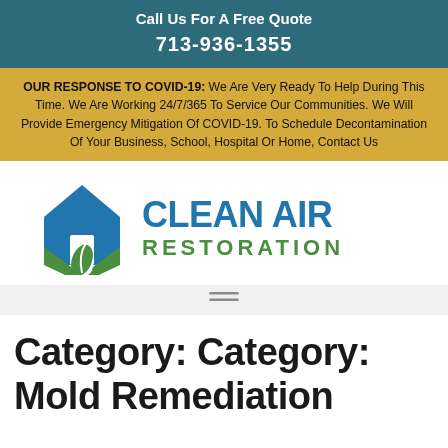Call Us For A Free Quote
713-936-1355
OUR RESPONSE TO COVID-19: We Are Very Ready To Help During This Time. We Are Working 24/7/365 To Service Our Communities. We Will Provide Emergency Mitigation Of COVID-19. To Schedule Decontamination Of Your Business, School, Hospital Or Home, Contact Us
[Figure (logo): Clean Air Restoration logo: blue house icon with green leaf shield below, beside bold blue text CLEAN AIR and green text RESTORATION]
[Figure (other): Navigation hamburger menu bar with two horizontal lines on a light grey background]
Category: Category: Mold Remediation